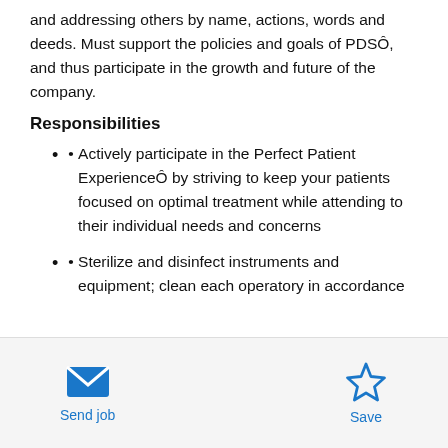and addressing others by name, actions, words and deeds. Must support the policies and goals of PDSÔ, and thus participate in the growth and future of the company.
Responsibilities
Actively participate in the Perfect Patient ExperienceÔ by striving to keep your patients focused on optimal treatment while attending to their individual needs and concerns
Sterilize and disinfect instruments and equipment; clean each operatory in accordance